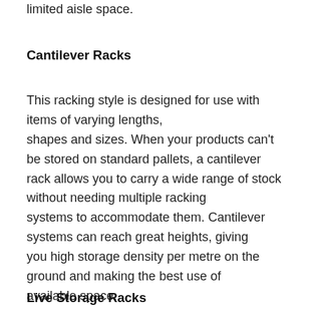limited aisle space.
Cantilever Racks
This racking style is designed for use with items of varying lengths, shapes and sizes. When your products can't be stored on standard pallets, a cantilever rack allows you to carry a wide range of stock without needing multiple racking systems to accommodate them. Cantilever systems can reach great heights, giving you high storage density per metre on the ground and making the best use of available space.
Live Storage Racks